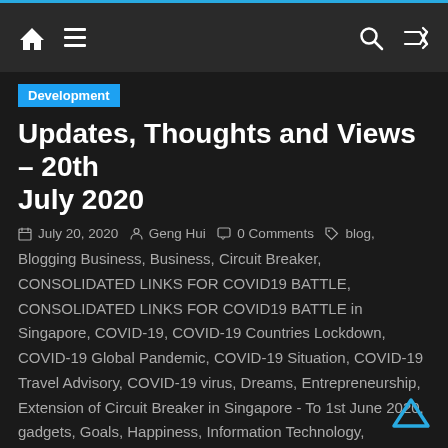Navigation bar with home, menu, search, and shuffle icons
Development
Updates, Thoughts and Views – 20th July 2020
July 20, 2020  Geng Hui  0 Comments  blog, Blogging Business, Business, Circuit Breaker, CONSOLIDATED LINKS FOR COVID19 BATTLE, CONSOLIDATED LINKS FOR COVID19 BATTLE in Singapore, COVID-19, COVID-19 Countries Lockdown, COVID-19 Global Pandemic, COVID-19 Situation, COVID-19 Travel Advisory, COVID-19 virus, Dreams, Entrepreneurship, Extension of Circuit Breaker in Singapore - To 1st June 2020, gadgets, Goals, Happiness, Information Technology, Inspirational, Internet Marketing, kindness, Life Experiences, Looking Beyond the COVID-19 Situation, Mentoring, Motivation, Online Business, Online Marketing, Pass It On, Pay It Forward, Personal, Personal Development, Personal Stories, Phase 2 Post Circuit Breaker has